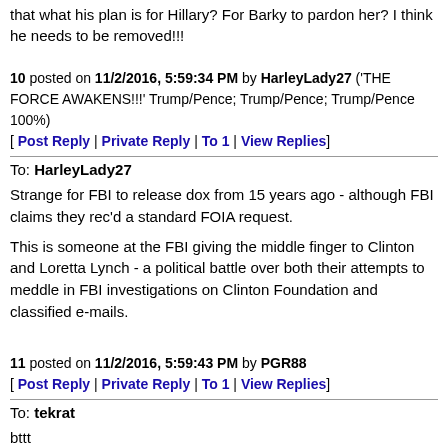that what his plan is for Hillary? For Barky to pardon her? I think he needs to be removed!!!
10 posted on 11/2/2016, 5:59:34 PM by HarleyLady27 ('THE FORCE AWAKENS!!!' Trump/Pence; Trump/Pence; Trump/Pence 100%)
[ Post Reply | Private Reply | To 1 | View Replies]
To: HarleyLady27
Strange for FBI to release dox from 15 years ago - although FBI claims they rec'd a standard FOIA request.
This is someone at the FBI giving the middle finger to Clinton and Loretta Lynch - a political battle over both their attempts to meddle in FBI investigations on Clinton Foundation and classified e-mails.
11 posted on 11/2/2016, 5:59:43 PM by PGR88
[ Post Reply | Private Reply | To 1 | View Replies]
To: tekrat
bttt